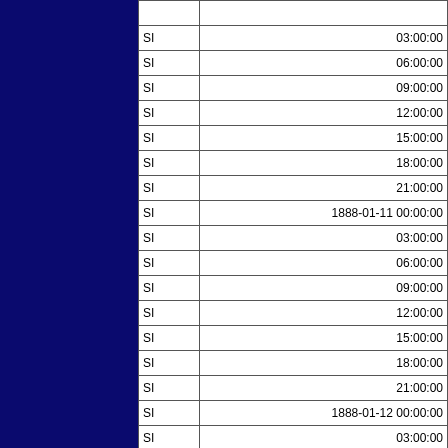|  |  |
| --- | --- |
| SI | 03:00:00 |
| SI | 06:00:00 |
| SI | 09:00:00 |
| SI | 12:00:00 |
| SI | 15:00:00 |
| SI | 18:00:00 |
| SI | 21:00:00 |
| SI | 1888-01-11 00:00:00 |
| SI | 03:00:00 |
| SI | 06:00:00 |
| SI | 09:00:00 |
| SI | 12:00:00 |
| SI | 15:00:00 |
| SI | 18:00:00 |
| SI | 21:00:00 |
| SI | 1888-01-12 00:00:00 |
| SI | 03:00:00 |
| SI | 06:00:00 |
| SI | 09:00:00 |
| SI | 12:00:00 |